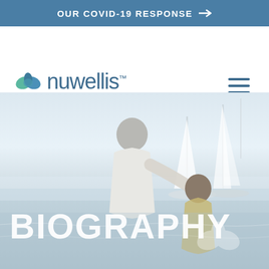OUR COVID-19 RESPONSE →
[Figure (logo): Nuwellis logo with leaf/wave icon and tagline: Restoring Fluid Balance. Transforming Care.]
[Figure (photo): Two elderly people (viewed from behind) sitting together near a marina with sailboats in the background. A semi-transparent Nuwellis leaf logo watermark is visible in the lower right corner.]
BIOGRAPHY